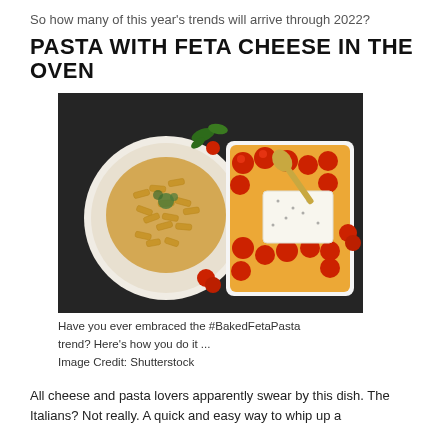So how many of this year's trends will arrive through 2022?
PASTA WITH FETA CHEESE IN THE OVEN
[Figure (photo): Photo of a bowl of cooked penne pasta garnished with herbs (left) and a white baking dish filled with cherry tomatoes surrounding a block of feta cheese with a gold spoon, on a dark background with scattered cherry tomatoes]
Have you ever embraced the #BakedFetaPasta trend? Here's how you do it ...
Image Credit: Shutterstock
All cheese and pasta lovers apparently swear by this dish. The Italians? Not really. A quick and easy way to whip up a